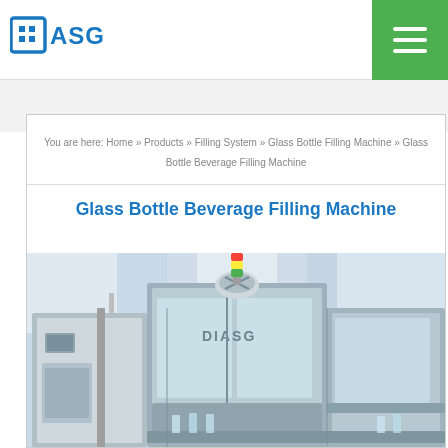ASG logo and navigation header
You are here: Home » Products » Filling System » Glass Bottle Filling Machine » Glass Bottle Beverage Filling Machine
Glass Bottle Beverage Filling Machine
[Figure (photo): Industrial glass bottle beverage filling machine in factory setting, showing stainless steel filling equipment with ASG branding]